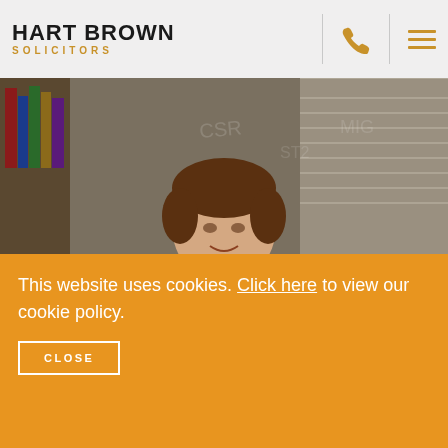HART BROWN SOLICITORS
[Figure (photo): Professional woman (Jane Crosby) seated at a desk with books in background, smiling at camera]
Jane Crosby
Partner, Head of Dispute Resolution & Accredited Mediator
This website uses cookies. Click here to view our cookie policy.
CLOSE